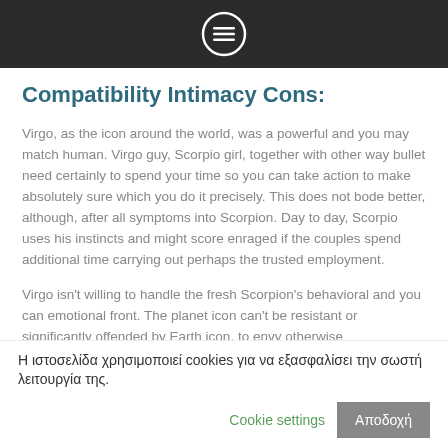Compatibility Intimacy Cons:
Virgo, as the icon around the world, was a powerful and you may match human. Virgo guy, Scorpio girl, together with other way bullet need certainly to spend your time so you can take action to make absolutely sure which you do it precisely. This does not bode better, although, after all symptoms into Scorpion. Day to day, Scorpio uses his instincts and might score enraged if the couples spend additional time carrying out perhaps the trusted employment.
Virgo isn't willing to handle the fresh Scorpion's behavioral and you can emotional front. The planet icon can't be resistant or significantly offended by Earth icon, to envy otherwise
Η ιστοσελίδα χρησιμοποιεί cookies για να εξασφαλίσει την σωστή λειτουργία της.
Cookie settings
Αποδοχή